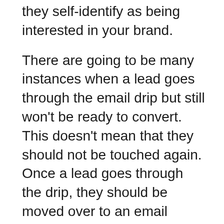they self-identify as being interested in your brand.
There are going to be many instances when a lead goes through the email drip but still won't be ready to convert. This doesn't mean that they should not be touched again. Once a lead goes through the drip, they should be moved over to an email process where they get emails once a week with your new blog posts. Emailing your blog posts to all of your leads is a great way to stay top-of-mind with your leads so that when they're ready to convert they will think of your brand over a competitor.
Question 4: How Can Sales and